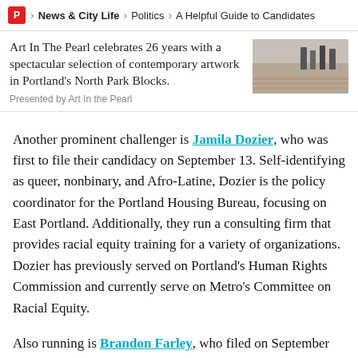P > News & City Life > Politics > A Helpful Guide to Candidates
Art In The Pearl celebrates 26 years with a spectacular selection of contemporary artwork in Portland’s North Park Blocks.
Presented by Art In the Pearl
Another prominent challenger is Jamila Dozier, who was first to file their candidacy on September 13. Self-identifying as queer, nonbinary, and Afro-Latine, Dozier is the policy coordinator for the Portland Housing Bureau, focusing on East Portland. Additionally, they run a consulting firm that provides racial equity training for a variety of organizations. Dozier has previously served on Portland’s Human Rights Commission and currently serve on Metro’s Committee on Racial Equity.
Also running is Brandon Farley, who filed on September